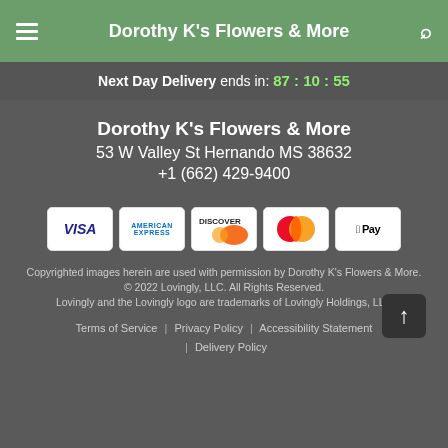Dorothy K's Flowers & More
Next Day Delivery ends in: 87 : 10 : 55
Dorothy K's Flowers & More
53 W Valley St Hernando MS 38632
+1 (662) 429-9400
[Figure (logo): Payment method icons: VISA, American Express, Discover, Mastercard, Apple Pay]
Copyrighted images herein are used with permission by Dorothy K's Flowers & More.
© 2022 Lovingly, LLC. All Rights Reserved.
Lovingly and the Lovingly logo are trademarks of Lovingly Holdings, LLC
Terms of Service | Privacy Policy | Accessibility Statement | Delivery Policy